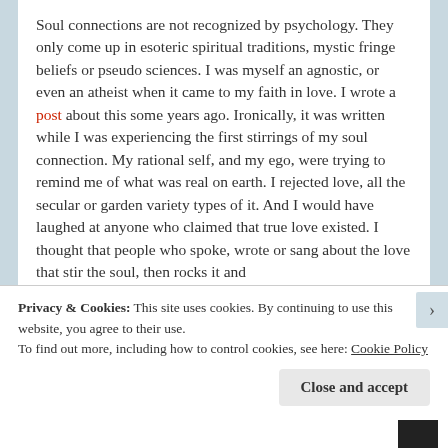Soul connections are not recognized by psychology. They only come up in esoteric spiritual traditions, mystic fringe beliefs or pseudo sciences. I was myself an agnostic, or even an atheist when it came to my faith in love. I wrote a post about this some years ago. Ironically, it was written while I was experiencing the first stirrings of my soul connection. My rational self, and my ego, were trying to remind me of what was real on earth. I rejected love, all the secular or garden variety types of it. And I would have laughed at anyone who claimed that true love existed. I thought that people who spoke, wrote or sang about the love that stir the soul, then rocks it and
Privacy & Cookies: This site uses cookies. By continuing to use this website, you agree to their use.
To find out more, including how to control cookies, see here: Cookie Policy
Close and accept